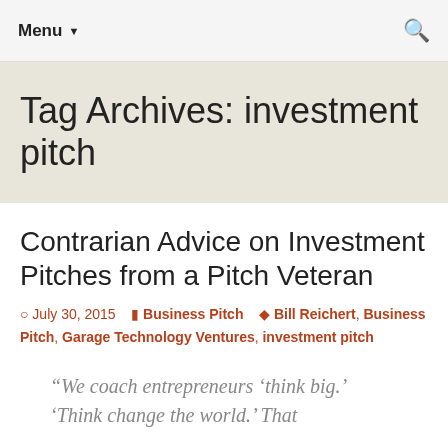Menu ▾  🔍
Tag Archives: investment pitch
Contrarian Advice on Investment Pitches from a Pitch Veteran
July 30, 2015   Business Pitch   Bill Reichert, Business Pitch, Garage Technology Ventures, investment pitch
“We coach entrepreneurs ‘think big.’ ‘Think change the world.’ That